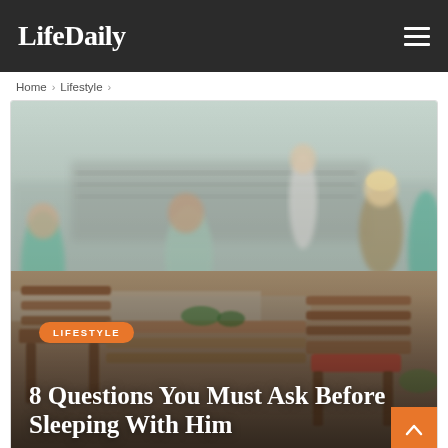LifeDaily
Home > Lifestyle >
[Figure (photo): Outdoor lifestyle scene with people sitting on benches in an urban plaza, wooden chairs and tables in the foreground, blurred background with people walking]
LIFESTYLE
8 Questions You Must Ask Before Sleeping With Him